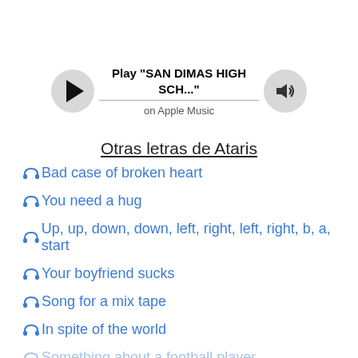[Figure (other): Music player widget with play button, track title 'Play "SAN DIMAS HIGH SCH..."', progress bar, volume icon, and subtitle 'on Apple Music']
Otras letras de Ataris
Bad case of broken heart
You need a hug
Up, up, down, down, left, right, left, right, b, a, start
Your boyfriend sucks
Song for a mix tape
In spite of the world
Something about a football player (partially visible)